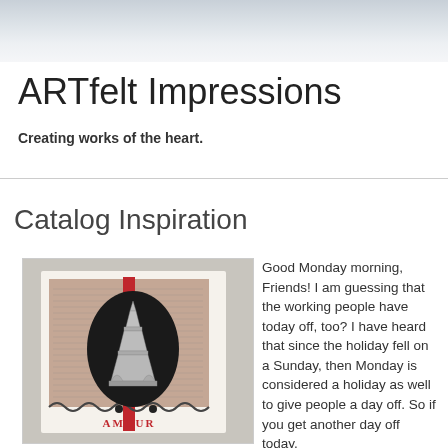ARTfelt Impressions
Creating works of the heart.
Monday, July 5, 2010
Catalog Inspiration
[Figure (photo): A handmade greeting card featuring an Eiffel Tower stamped image on a black oval background, layered on a collage/text-print background with scalloped border, red ribbon accent, and 'AMOUR' text at the bottom.]
Good Monday morning, Friends! I am guessing that the working people have today off, too? I have heard that since the holiday fell on a Sunday, then Monday is considered a holiday as well to give people a day off. So if you get another day off today,